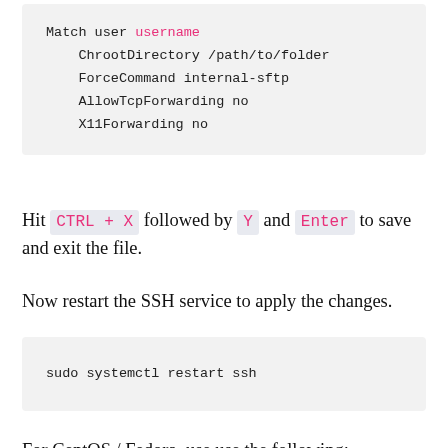Match user username
    ChrootDirectory /path/to/folder
    ForceCommand internal-sftp
    AllowTcpForwarding no
    X11Forwarding no
Hit CTRL + X followed by Y and Enter to save and exit the file.
Now restart the SSH service to apply the changes.
sudo systemctl restart ssh
For CentOS / Fedora, use use the following: